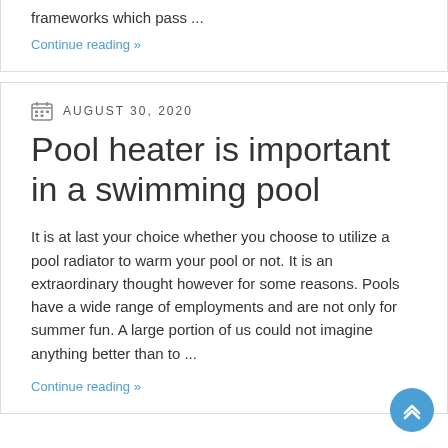frameworks which pass ...
Continue reading »
AUGUST 30, 2020
Pool heater is important in a swimming pool
It is at last your choice whether you choose to utilize a pool radiator to warm your pool or not. It is an extraordinary thought however for some reasons. Pools have a wide range of employments and are not only for summer fun. A large portion of us could not imagine anything better than to ...
Continue reading »